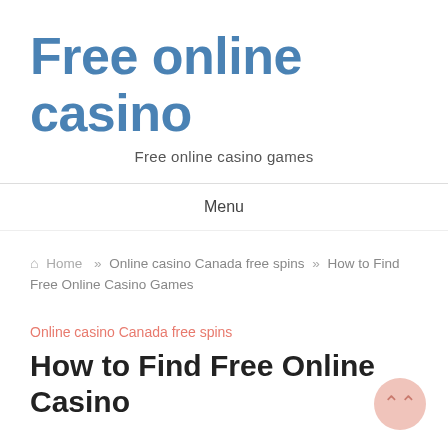Free online casino
Free online casino games
Menu
🏠 Home » Online casino Canada free spins » How to Find Free Online Casino Games
Online casino Canada free spins
How to Find Free Online Casino Games